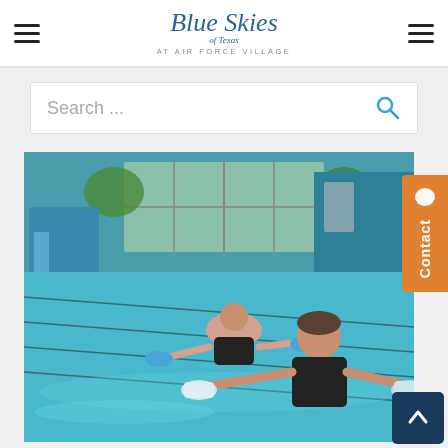Blue Skies of Texas at Air Force Village
Search ...
[Figure (photo): Two women doing water aerobics in an indoor/outdoor swimming pool, holding foam dumbbells, wearing dark swimsuits. Pool has lane lines visible. Background shows large windows and teal-colored building exterior.]
Contact